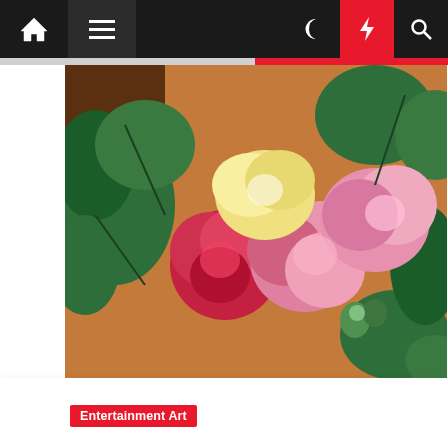Navigation bar with home, menu, moon, lightning, search icons
[Figure (photo): Colorful impressionist painting of pink, red, and yellow peonies/flowers with green leaves on a warm brown/orange background]
Entertainment Art
Art exhibit by Kirsten Bowen, Karen LaValley runs through April 9
Ernestine M. Straub  7 months ago